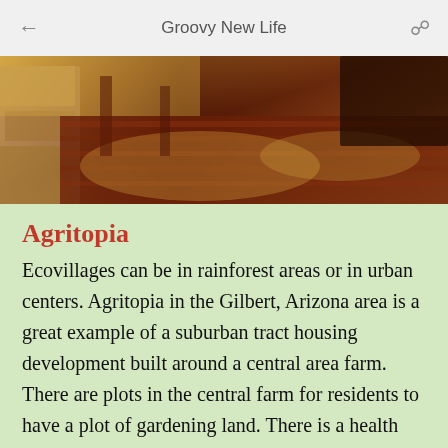Groovy New Life
[Figure (photo): Warm-toned photograph of a wooden structure interior with sunlight casting patterns on a reddish-brown floor, possibly a rustic building or ecovillage structure.]
Agritopia
Ecovillages can be in rainforest areas or in urban centers. Agritopia in the Gilbert, Arizona area is a great example of a suburban tract housing development built around a central area farm. There are plots in the central farm for residents to have a plot of gardening land. There is a health restaurant serving foods grown there. This residential